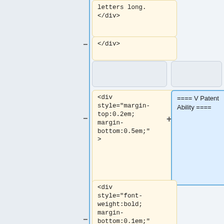[Figure (screenshot): Diff view showing code comparison with yellow highlighted code boxes on left and blue highlighted wiki markup on right. Shows HTML div elements being compared to wiki section headers. Left column shows HTML code snippets, right column shows wiki markup. Minus and plus symbols indicate removed/added lines.]
letters long.
</div>
</div>
<div style="margin-top:0.2em; margin-bottom:0.5em;">
==== V Patent Ability ====
<div style="font-weight:bold; margin-bottom:0.1em;">X Patent Ability</div>
<div style="margin-